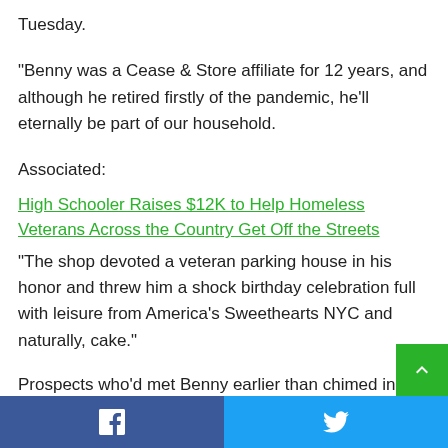Tuesday.
“Benny was a Cease & Store affiliate for 12 years, and although he retired firstly of the pandemic, he’ll eternally be part of our household.
Associated:
High Schooler Raises $12K to Help Homeless Veterans Across the Country Get Off the Streets
“The shop devoted a veteran parking house in his honor and threw him a shock birthday celebration full with leisure from America’s Sweethearts NYC and naturally, cake.”
Prospects who’d met Benny earlier than chimed in, at the very least one saying that Benny the Bagger at all times made him
Facebook Twitter